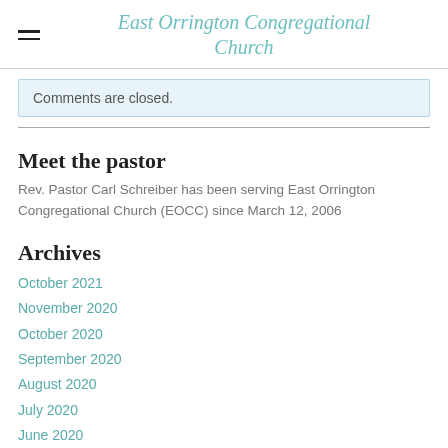East Orrington Congregational Church
Comments are closed.
Meet the pastor
Rev. Pastor Carl Schreiber has been serving East Orrington Congregational Church (EOCC) since March 12, 2006
Archives
October 2021
November 2020
October 2020
September 2020
August 2020
July 2020
June 2020